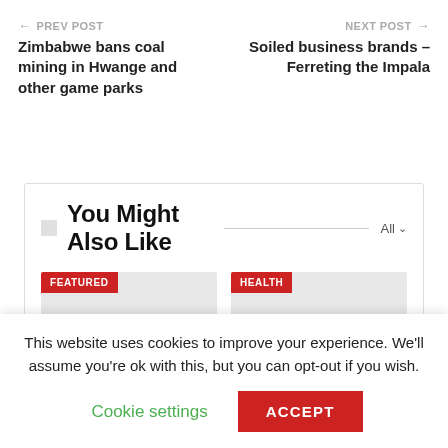← PREV POST
Zimbabwe bans coal mining in Hwange and other game parks
NEXT POST →
Soiled business brands – Ferreting the Impala
You Might Also Like
[Figure (other): Card with FEATURED badge and grey placeholder image]
[Figure (other): Card with HEALTH badge and grey placeholder image]
This website uses cookies to improve your experience. We'll assume you're ok with this, but you can opt-out if you wish.
Cookie settings
ACCEPT